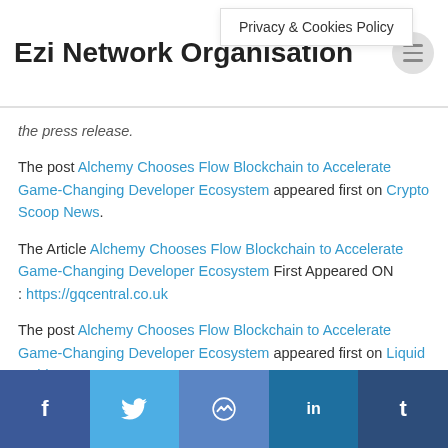Ezi Network Organisation
Privacy & Cookies Policy
the press release.
The post Alchemy Chooses Flow Blockchain to Accelerate Game-Changing Developer Ecosystem appeared first on Crypto Scoop News.
The Article Alchemy Chooses Flow Blockchain to Accelerate Game-Changing Developer Ecosystem First Appeared ON : https://gqcentral.co.uk
The post Alchemy Chooses Flow Blockchain to Accelerate Game-Changing Developer Ecosystem appeared first on Liquid Gold.
f  Twitter  Messenger  in  t